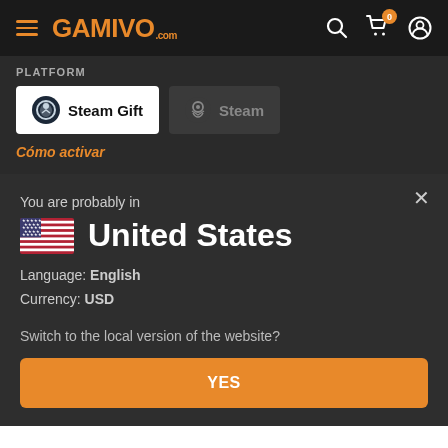GAMIVO.com
PLATFORM
Steam Gift
Steam
Cómo activar
You are probably in
United States
Language: English
Currency: USD
Switch to the local version of the website?
YES